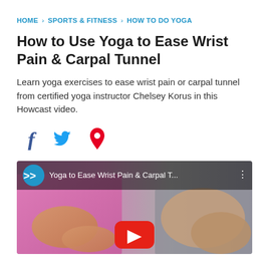HOME › SPORTS & FITNESS › HOW TO DO YOGA
How to Use Yoga to Ease Wrist Pain & Carpal Tunnel
Learn yoga exercises to ease wrist pain or carpal tunnel from certified yoga instructor Chelsey Korus in this Howcast video.
[Figure (other): Social share icons: Facebook (f), Twitter (bird), Pinterest (p)]
[Figure (screenshot): Video thumbnail showing a yoga instructor with pink top demonstrating wrist exercises, with Howcast logo and title 'Yoga to Ease Wrist Pain & Carpal T...' overlay bar, and YouTube play button]